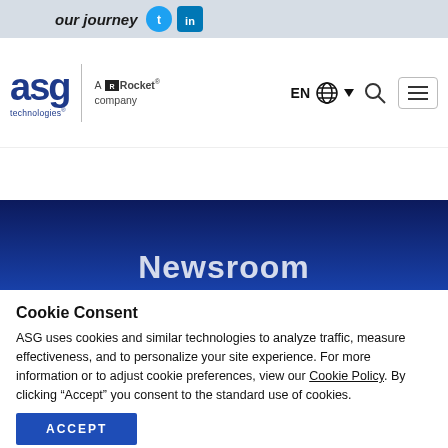our journey
[Figure (logo): ASG Technologies logo - A Rocket company, with navigation bar including EN language selector, globe icon, search icon, and hamburger menu]
[Figure (other): Dark navy blue hero banner with partial text 'Newsroom']
Cookie Consent
ASG uses cookies and similar technologies to analyze traffic, measure effectiveness, and to personalize your site experience. For more information or to adjust cookie preferences, view our Cookie Policy. By clicking “Accept” you consent to the standard use of cookies.
ACCEPT